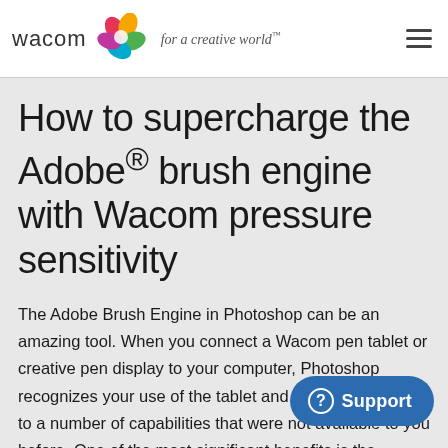[Figure (logo): Wacom logo with colorful flower/petal icon and text 'wacom for a creative world™']
How to supercharge the Adobe® brush engine with Wacom pressure sensitivity
The Adobe Brush Engine in Photoshop can be an amazing tool. When you connect a Wacom pen tablet or creative pen display to your computer, Photoshop recognizes your use of the tablet and gives you access to a number of capabilities that were not available to you before. One of the most significant benefits is the recognition of pressure sensitivity in the Wacom pen. All tools that use the Brush Engine can take advantage of pressure sensitivity.